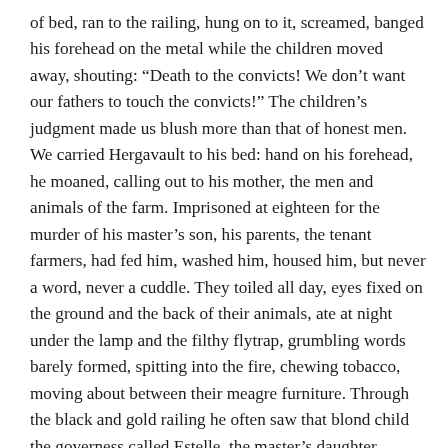of bed, ran to the railing, hung on to it, screamed, banged his forehead on the metal while the children moved away, shouting: “Death to the convicts! We don’t want our fathers to touch the convicts!” The children’s judgment made us blush more than that of honest men. We carried Hergavault to his bed: hand on his forehead, he moaned, calling out to his mother, the men and animals of the farm. Imprisoned at eighteen for the murder of his master’s son, his parents, the tenant farmers, had fed him, washed him, housed him, but never a word, never a cuddle. They toiled all day, eyes fixed on the ground and the back of their animals, ate at night under the lamp and the filthy flytrap, grumbling words barely formed, spitting into the fire, chewing tobacco, moving about between their meagre furniture. Through the black and gold railing he often saw that blond child the governess called Estelle, the master’s daughter. Underneath the park’s larches she watched him from afar pushing his oxen or dragging his horses. He didn’t lower his eyes when they met on the church square on